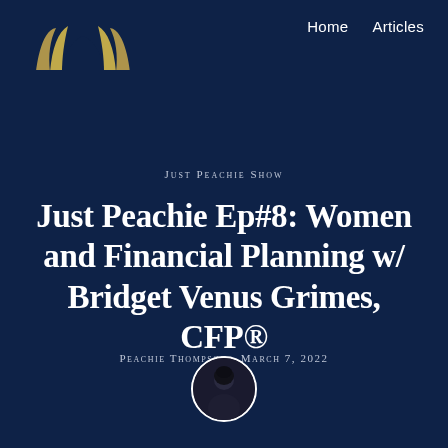[Figure (logo): Just Peachie Show logo — golden crown/wings shape on dark blue background]
Home    Articles
Just Peachie Show
Just Peachie Ep#8: Women and Financial Planning w/ Bridget Venus Grimes, CFP®
Peachie Thompson · March 7, 2022
[Figure (photo): Circular avatar photo of Peachie Thompson, a woman with dark hair on dark background]